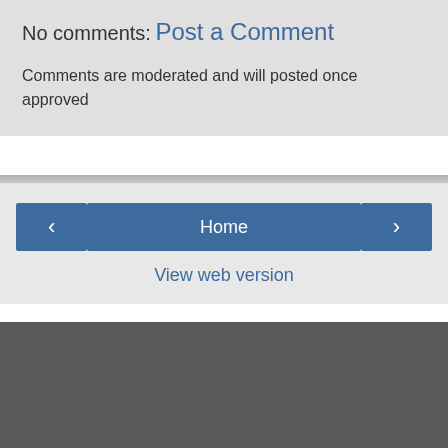No comments:
Post a Comment
Comments are moderated and will posted once approved
Home
View web version